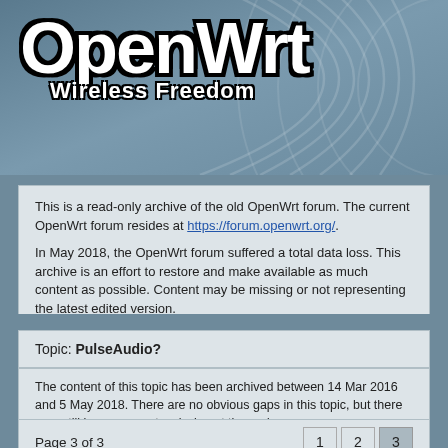[Figure (logo): OpenWrt logo with 'Wireless Freedom' tagline on a teal/blue gradient background with concentric arc design]
This is a read-only archive of the old OpenWrt forum. The current OpenWrt forum resides at https://forum.openwrt.org/.
In May 2018, the OpenWrt forum suffered a total data loss. This archive is an effort to restore and make available as much content as possible. Content may be missing or not representing the latest edited version.
Topic: PulseAudio?
The content of this topic has been archived between 14 Mar 2016 and 5 May 2018. There are no obvious gaps in this topic, but there may still be some posts missing at the end.
Page 3 of 3   1  2  3
Post #51: johncass on 28 Nov 2011, 20:37
might be something to do with libudev, trying with --disable-udev...
Post #52: johncass on 29 Nov 2011, 08:19